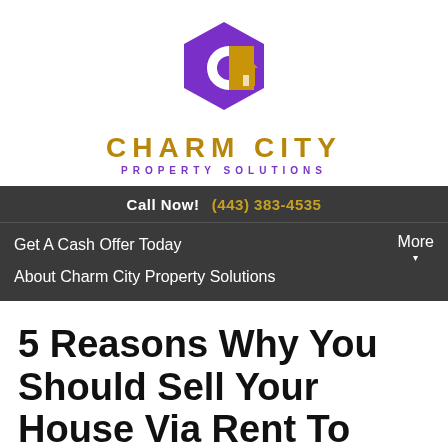[Figure (logo): Charm City Property Solutions logo — purple hexagon shape with a white C and gold house icon inside, with gold text CHARM CITY and purple text PROPERTY SOLUTIONS below]
Call Now! (443) 383-4535
Get A Cash Offer Today
About Charm City Property Solutions
More
5 Reasons Why You Should Sell Your House Via Rent To Own in